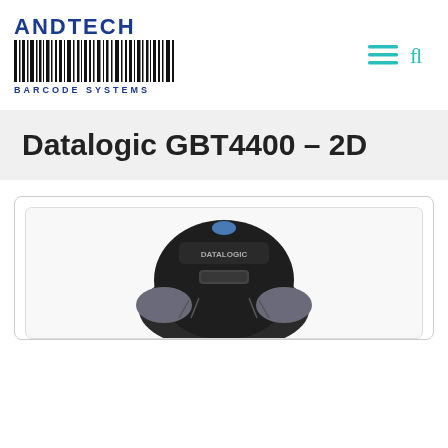[Figure (logo): Andtech Barcode Systems logo with barcode graphic and bold text]
Datalogic GBT4400 – 2D
[Figure (photo): Photo of Datalogic GBT4400 2D barcode scanner, black and grey handheld device, top portion visible]